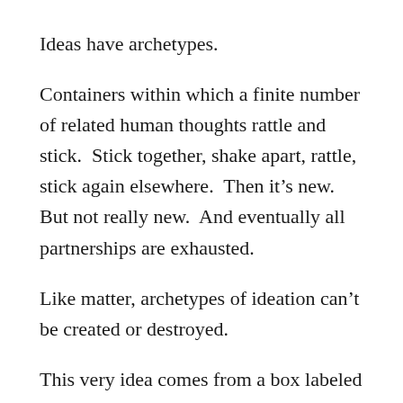Ideas have archetypes.
Containers within which a finite number of related human thoughts rattle and stick.  Stick together, shake apart, rattle, stick again elsewhere.  Then it’s new.  But not really new.  And eventually all partnerships are exhausted.
Like matter, archetypes of ideation can’t be created or destroyed.
This very idea comes from a box labeled “Jung, et al”.
And then again, the archetypes themselves are